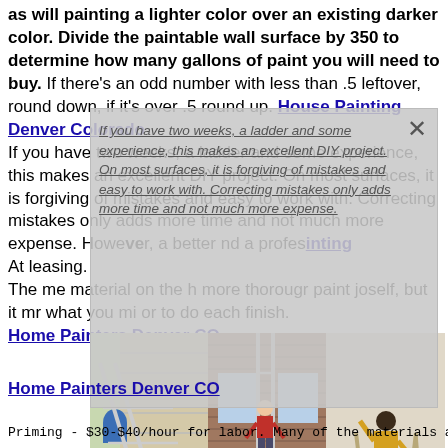as will painting a lighter color over an existing darker color. Divide the paintable wall surface by 350 to determine how many gallons of paint you will need to buy. If there's an odd number with less than .5 leftover, round down, if it's over .5 round up. House Painting Denver Colorado
If you have two weeks, a ladder and some experience, this makes an excellent DIY project. On most surfaces, it is forgiving of mistakes and easy to work with. Correcting mistakes only adds more time and not much more expense. However, ... a better ... and a professional ... [House Painting]
At least ... ing.
The me... material on the h... more thorough... r paint jo... self, but it m... r what you mi... or to do each ... finish.
Home Painters Denver CO
[Figure (photo): Three side-by-side photos showing people working with ladders on houses. Left: person horizontal on ladder leaning against house siding. Middle: person climbing ladder on brick house exterior. Right: person leaning on stepladder indoors.]
Priming - $30-$40/hour for labor. Many of the materials a